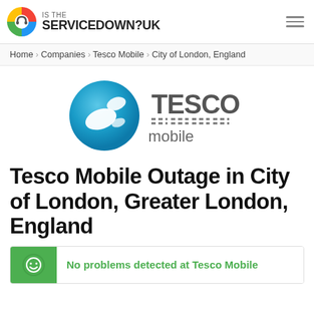IS THE SERVICEDOWN?UK
Home › Companies › Tesco Mobile › City of London, England
[Figure (logo): Tesco Mobile logo — blue sphere with white oval shapes and TESCO mobile text]
Tesco Mobile Outage in City of London, Greater London, England
No problems detected at Tesco Mobile